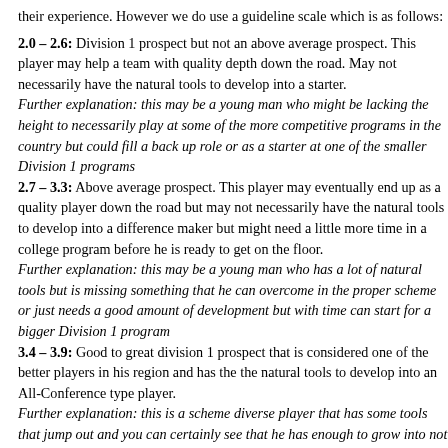their experience. However we do use a guideline scale which is as follows:
2.0 – 2.6: Division 1 prospect but not an above average prospect. This player may help a team with quality depth down the road. May not necessarily have the natural tools to develop into a starter.
Further explanation: this may be a young man who might be lacking the height to necessarily play at some of the more competitive programs in the country but could fill a back up role or as a starter at one of the smaller Division 1 programs
2.7 – 3.3: Above average prospect. This player may eventually end up as a quality player down the road but may not necessarily have the natural tools to develop into a difference maker but might need a little more time in a college program before he is ready to get on the floor.
Further explanation: this may be a young man who has a lot of natural tools but is missing something that he can overcome in the proper scheme or just needs a good amount of development but with time can start for a bigger Division 1 program
3.4 – 3.9: Good to great division 1 prospect that is considered one of the better players in his region and has the the natural tools to develop into an All-Conference type player.
Further explanation: this is a scheme diverse player that has some tools that jump out and you can certainly see that he has enough to grow into not only a starter but with development, perhaps, even an All-Conference player
4.0 – 4.4: Excellent division 1 prospect and truly elite athlete. Has a chance to be a difference maker and has the tools to perhaps develop into an All-American type player. Should see early playing time.